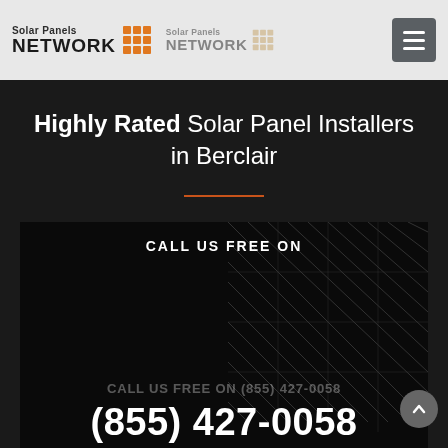Solar Panels NETWORK | Solar Panels NETWORK
Highly Rated Solar Panel Installers in Berclair
CALL US FREE ON
CALL US FREE ON (855) 427-0058
(855) 427-0058